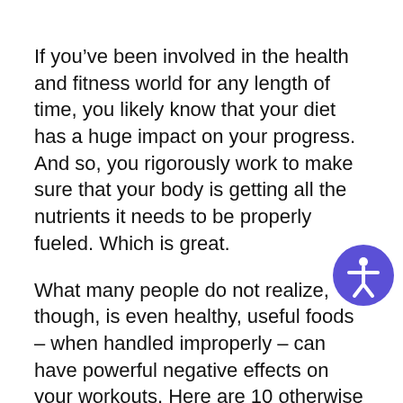If you've been involved in the health and fitness world for any length of time, you likely know that your diet has a huge impact on your progress. And so, you rigorously work to make sure that your body is getting all the nutrients it needs to be properly fueled. Which is great.
What many people do not realize, though, is even healthy, useful foods – when handled improperly – can have powerful negative effects on your workouts. Here are 10 otherwise acceptable foods to keep away from your workouts.
Avocado – While this is one amazing fruit, avocados are far from an ideal pre-workout